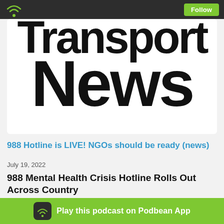Follow
[Figure (logo): Transport News podcast logo — large bold text showing 'Transport' and 'News' in black on white background]
988 Hotline is LIVE! NGOs should be ready (news)
July 19, 2022
988 Mental Health Crisis Hotline Rolls Out Across Country
The consolidated 988 national mental health hotline rolled out over the weekend, as part of a broader effort to fill gaps in emergency mental health response and access throughout the country. The effort, in la... alth and Human Se... al Health
Play this podcast on Podbean App